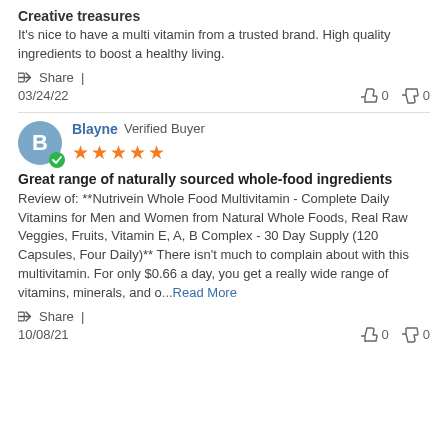Creative treasures
It's nice to have a multi vitamin from a trusted brand. High quality ingredients to boost a healthy living.
Share |
03/24/22   👍 0   👎 0
Blayne Verified Buyer ★★★★★
Great range of naturally sourced whole-food ingredients
Review of: **Nutrivein Whole Food Multivitamin - Complete Daily Vitamins for Men and Women from Natural Whole Foods, Real Raw Veggies, Fruits, Vitamin E, A, B Complex - 30 Day Supply (120 Capsules, Four Daily)** There isn't much to complain about with this multivitamin. For only $0.66 a day, you get a really wide range of vitamins, minerals, and o...Read More
Share |
10/08/21   👍 0   👎 0